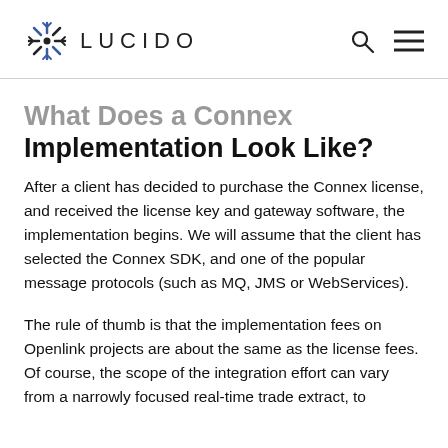LUCIDO
What Does a Connex Implementation Look Like?
After a client has decided to purchase the Connex license, and received the license key and gateway software, the implementation begins. We will assume that the client has selected the Connex SDK, and one of the popular message protocols (such as MQ, JMS or WebServices).
The rule of thumb is that the implementation fees on Openlink projects are about the same as the license fees. Of course, the scope of the integration effort can vary from a narrowly focused real-time trade extract, to